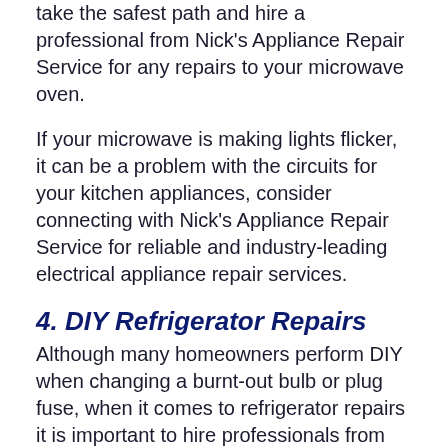take the safest path and hire a professional from Nick's Appliance Repair Service for any repairs to your microwave oven.
If your microwave is making lights flicker, it can be a problem with the circuits for your kitchen appliances, consider connecting with Nick's Appliance Repair Service for reliable and industry-leading electrical appliance repair services.
4. DIY Refrigerator Repairs
Although many homeowners perform DIY when changing a burnt-out bulb or plug fuse, when it comes to refrigerator repairs it is important to hire professionals from Nick's Appliance Repair Service. Here's why:
Refrigerators are heavy and can result in